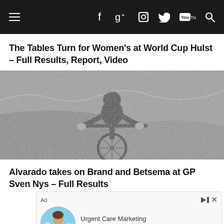Navigation bar with hamburger menu, Facebook, Google+, Instagram, Twitter, YouTube, Search icons
The Tables Turn for Women’s at World Cup Hulst – Full Results, Report, Video
[Figure (photo): Black and white photo of a female cyclist riding a cyclocross bike on rough terrain, front-facing view]
Alvarado takes on Brand and Betsema at GP Sven Nys – Full Results
[Figure (other): Advertisement banner for Urgent Care Marketing with a person in medical scrubs and the text 'Contact Us']